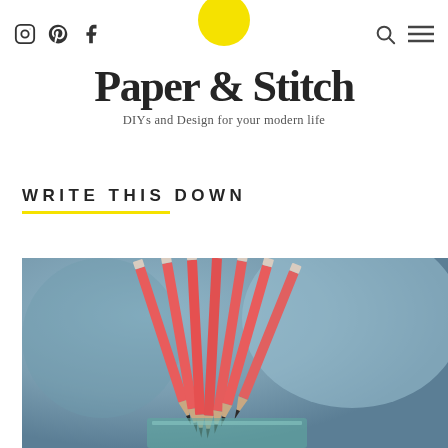Paper & Stitch — DIYs and Design for your modern life — navigation header with social icons (Instagram, Pinterest, Facebook), yellow circle logo, search and menu icons
Paper & Stitch
DIYs and Design for your modern life
WRITE THIS DOWN
[Figure (photo): A bunch of red/coral colored pencils standing upright in a glass container, tips pointing up, against a blurred blue-grey background]